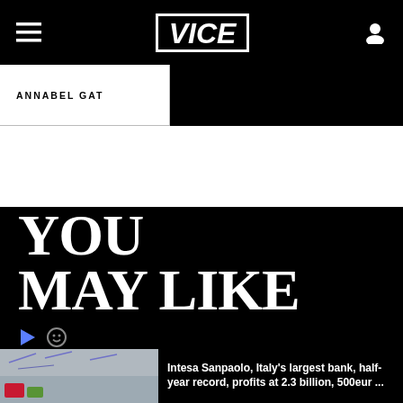VICE
ANNABEL GAT
YOU
MAY LIKE
Intesa Sanpaolo, Italy's largest bank, half-year record, profits at 2.3 billion, 500eur ...